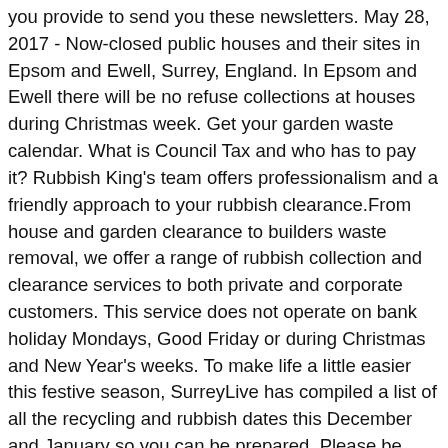you provide to send you these newsletters. May 28, 2017 - Now-closed public houses and their sites in Epsom and Ewell, Surrey, England. In Epsom and Ewell there will be no refuse collections at houses during Christmas week. Get your garden waste calendar. What is Council Tax and who has to pay it? Rubbish King's team offers professionalism and a friendly approach to your rubbish clearance.From house and garden clearance to builders waste removal, we offer a range of rubbish collection and clearance services to both private and corporate customers. This service does not operate on bank holiday Mondays, Good Friday or during Christmas and New Year's weeks. To make life a little easier this festive season, SurreyLive has compiled a list of all the recycling and rubbish dates this December and January so you can be prepared. Please be considerate when parking your car on a collection day. What if a collection is missed? Monday December 23 - Saturday December 21, Wednesday December 25 - Tuesday December 24, Thursday December 26 - Friday December 27,